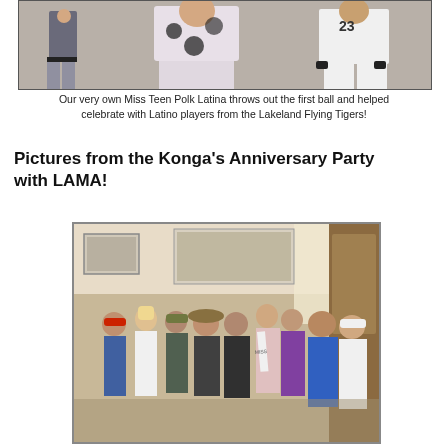[Figure (photo): Group photo of Miss Teen Polk Latina with Latino baseball players from the Lakeland Flying Tigers, shown from waist up in baseball uniforms, outdoors or in a stadium setting.]
Our very own Miss Teen Polk Latina throws out the first ball and helped celebrate with Latino players from the Lakeland Flying Tigers!
Pictures from the Konga's Anniversary Party with LAMA!
[Figure (photo): Group photo of approximately 10-11 people posing together indoors at the Konga's Anniversary Party with LAMA. One woman in the center wears a pageant sash. People are dressed casually, some in biker-style attire. Framed sports photos visible on the walls behind them.]